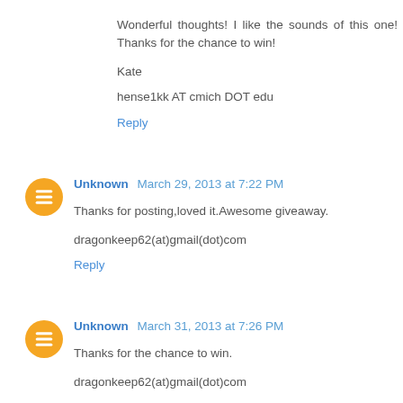Wonderful thoughts! I like the sounds of this one! Thanks for the chance to win!
Kate
hense1kk AT cmich DOT edu
Reply
Unknown  March 29, 2013 at 7:22 PM
Thanks for posting,loved it.Awesome giveaway.
dragonkeep62(at)gmail(dot)com
Reply
Unknown  March 31, 2013 at 7:26 PM
Thanks for the chance to win.
dragonkeep62(at)gmail(dot)com